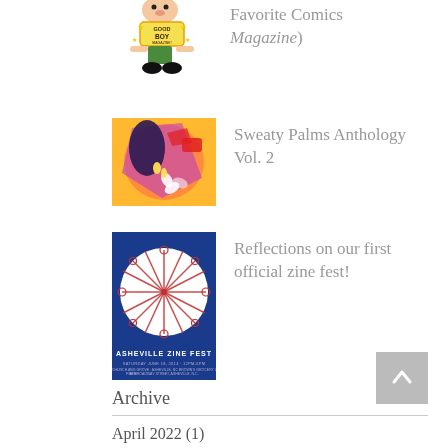[Figure (illustration): Good Boy Magazine cartoon character illustration (cropped at top)]
Favorite Comics Magazine)
[Figure (illustration): Sweaty Palms Anthology Vol. 2 colorful abstract illustration cover]
Sweaty Palms Anthology Vol. 2
[Figure (illustration): Asheville Zine Fest poster with scissors arranged in a circle on blue background]
Reflections on our first official zine fest!
Archive
April 2022 (1)
December 2020 (2)